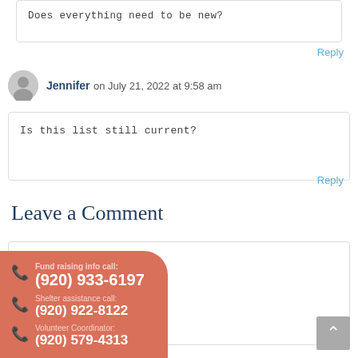Does everything need to be new?
Reply
Jennifer on July 21, 2022 at 9:58 am
Is this list still current?
Reply
Leave a Comment
Fund raising info call: (920) 933-6197
Shelter assistance call: (920) 922-8122
Volunteer Coordinator: (920) 579-4313